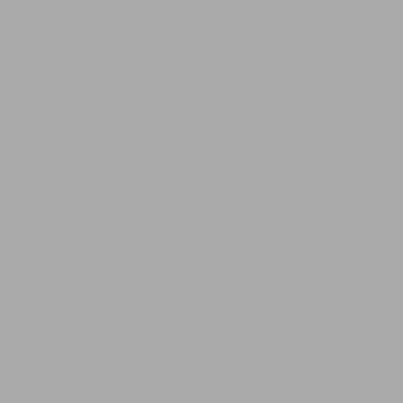[Note:
Liabili...
FUND 3.10.10
G
22/07/2013
An AIFM function...
UK Reg...
Review...
FUND 3.10.11
R
22/07/2013
An AIFM...
(1) d...
(2) s...
[Not...